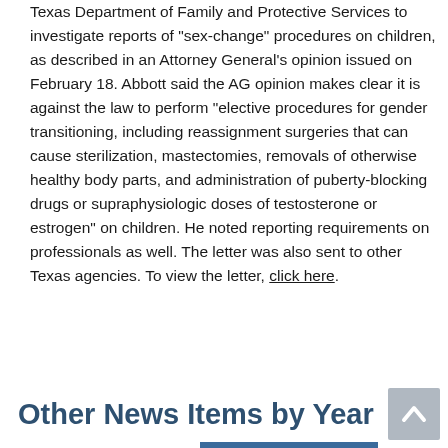Texas Department of Family and Protective Services to investigate reports of "sex-change" procedures on children, as described in an Attorney General's opinion issued on February 18. Abbott said the AG opinion makes clear it is against the law to perform "elective procedures for gender transitioning, including reassignment surgeries that can cause sterilization, mastectomies, removals of otherwise healthy body parts, and administration of puberty-blocking drugs or supraphysiologic doses of testosterone or estrogen" on children. He noted reporting requirements on professionals as well. The letter was also sent to other Texas agencies. To view the letter, click here.
Other News Items by Year